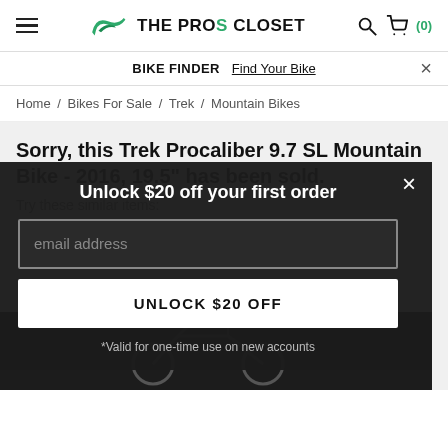THE PROS CLOSET
BIKE FINDER  Find Your Bike
Home / Bikes For Sale / Trek / Mountain Bikes
Sorry, this Trek Procaliber 9.7 SL Mountain Bike - 2016, 19.5" has been sold.
Try these similar items:
Unlock $20 off your first order
email address
UNLOCK $20 OFF
*Valid for one-time use on new accounts